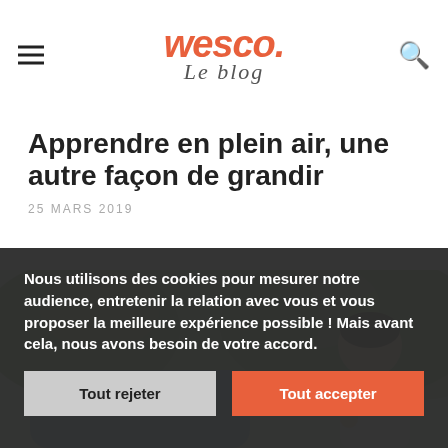Wesco Le blog
Apprendre en plein air, une autre façon de grandir
25 MARS 2019
[Figure (photo): Outdoor photo of a child playing outside on grass, learning in nature]
Nous utilisons des cookies pour mesurer notre audience, entretenir la relation avec vous et vous proposer la meilleure expérience possible ! Mais avant cela, nous avons besoin de votre accord.